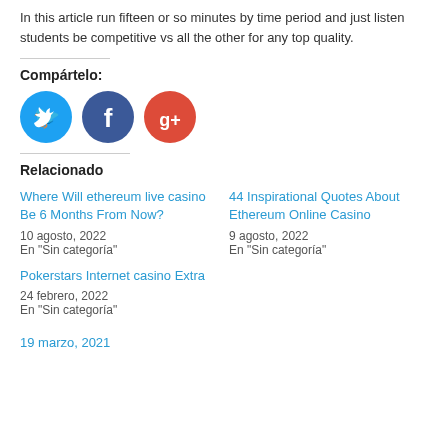In this article run fifteen or so minutes by time period and just listen students be competitive vs all the other for any top quality.
Compártelo:
[Figure (illustration): Three social media share buttons: Twitter (blue circle with bird), Facebook (dark blue circle with f), Google+ (red circle with g+)]
Relacionado
Where Will ethereum live casino Be 6 Months From Now?
10 agosto, 2022
En "Sin categoría"
44 Inspirational Quotes About Ethereum Online Casino
9 agosto, 2022
En "Sin categoría"
Pokerstars Internet casino Extra
24 febrero, 2022
En "Sin categoría"
19 marzo, 2021